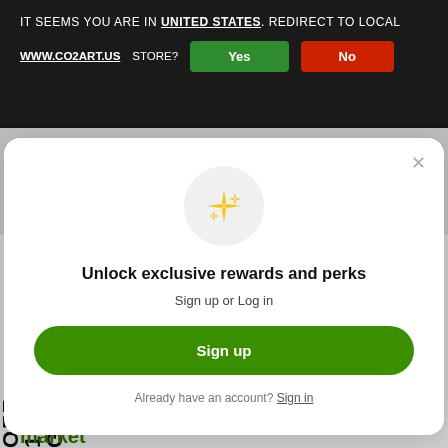IT SEEMS YOU ARE IN UNITED STATES. REDIRECT TO LOCAL WWW.CO2ART.US STORE? Yes No
CO2 injection for a tank vs no injection in nature
Say hello to Christmas Moss!
[Figure (screenshot): Loyalty rewards modal dialog with sparkle icon, title 'Unlock exclusive rewards and perks', sign up or log in text, green Sign up button, and Sign in link]
Unlock exclusive rewards and perks
Sign up or Log in
Sign up
Already have an account? Sign in
market